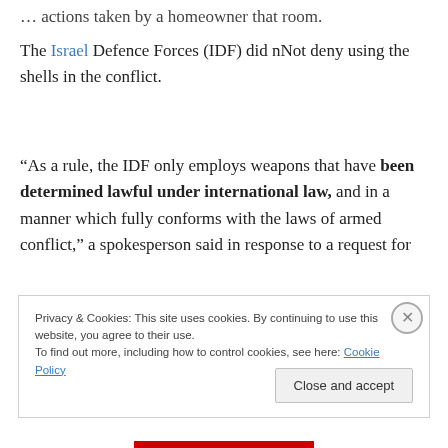… actions taken by a homeowner that room.
The Israel Defence Forces (IDF) did nNot deny using the shells in the conflict.
“As a rule, the IDF only employs weapons that have been determined lawful under international law, and in a manner which fully conforms with the laws of armed conflict,” a spokesperson said in response to a request for
Privacy & Cookies: This site uses cookies. By continuing to use this website, you agree to their use.
To find out more, including how to control cookies, see here: Cookie Policy